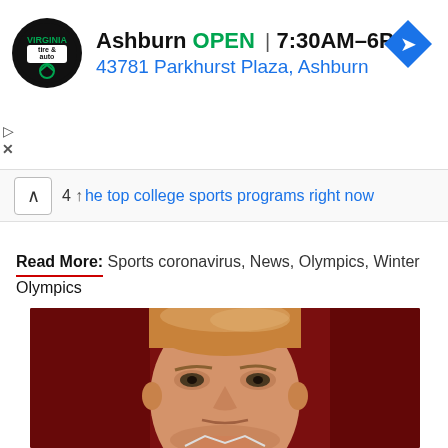[Figure (other): Advertisement banner for Virginia Tire & Auto, Ashburn location. Shows logo, OPEN status, hours 7:30AM-6PM, address 43781 Parkhurst Plaza Ashburn, and a blue navigation arrow icon.]
the top college sports programs right now
Read More: Sports coronavirus, News, Olympics, Winter Olympics
[Figure (photo): Close-up photo of a man with blonde/gray hair against a dark red/maroon background, looking directly at the camera with a serious expression.]